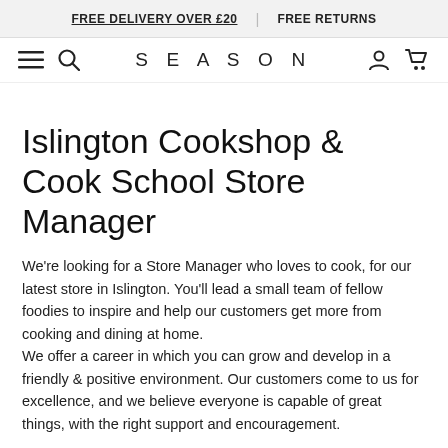FREE DELIVERY OVER £20 | FREE RETURNS
SEASON
Islington Cookshop & Cook School Store Manager
We're looking for a Store Manager who loves to cook, for our latest store in Islington. You'll lead a small team of fellow foodies to inspire and help our customers get more from cooking and dining at home.
We offer a career in which you can grow and develop in a friendly & positive environment. Our customers come to us for excellence, and we believe everyone is capable of great things, with the right support and encouragement.